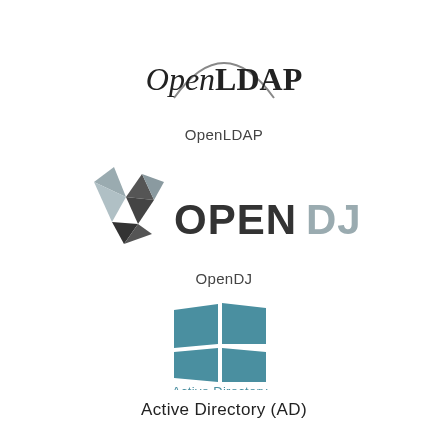[Figure (logo): OpenLDAP logo: arc above italic/bold text reading OpenLDAP]
OpenLDAP
[Figure (logo): OpenDJ logo: geometric gem/shield icon in grey tones beside bold OPENDJ text with DJ in lighter grey]
OpenDJ
[Figure (logo): Active Directory logo: teal/blue Windows four-pane window icon with Active Directory text below in teal]
Active Directory (AD)